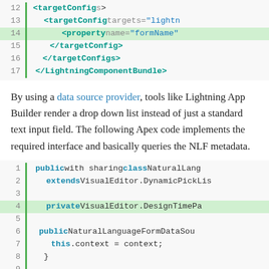[Figure (screenshot): Code block showing XML configuration lines 12-17 with syntax highlighting. Line 14 is highlighted green. Shows targetConfig, property, /targetConfig, /targetConfigs, /LightningComponentBundle tags.]
By using a data source provider, tools like Lightning App Builder render a drop down list instead of just a standard text input field. The following Apex code implements the required interface and basically queries the NLF metadata.
[Figure (screenshot): Code block showing Apex code lines 1-12. Line 4 is highlighted green. Shows public class NaturalLang extends VisualEditor.DynamicPickLis, private VisualEditor.DesignTimePa, public NaturalLanguageFormDataSou, this.context = context;, } and public override VisualEditor.Data, NaturalLanguageForm__mdt form, new NaturalLanguageFormSe.]